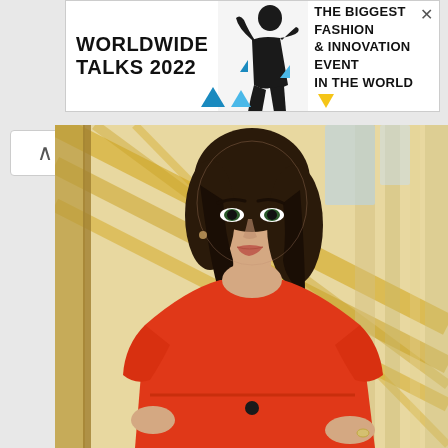[Figure (infographic): Advertisement banner for Worldwide Talks 2022 — The Biggest Fashion & Innovation Event In The World, featuring a fashion model silhouette and blue/yellow geometric accents]
[Figure (photo): Professional portrait photograph of a young woman with dark hair wearing a red/orange short-sleeve fitted dress, standing with hands on hips in a building with yellow structural beams in the background]